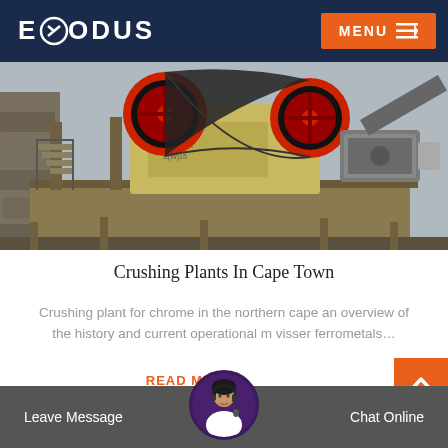EXODUS | MENU
[Figure (photo): Industrial crushing plant machinery with large red flywheels, conveyor belts, and metal platform structures at a mining or quarry site.]
Crushing Plants In Cape Town
Crushing plant for chrome in the northern cape an overview of the history and current operational m visser ferrometals…
READ MORE
Leave Message | Chat Online